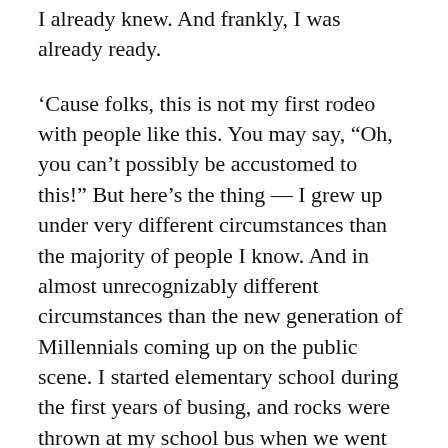I already knew. And frankly, I was already ready.
‘Cause folks, this is not my first rodeo with people like this. You may say, “Oh, you can’t possibly be accustomed to this!” But here’s the thing — I grew up under very different circumstances than the majority of people I know. And in almost unrecognizably different circumstances than the new generation of Millennials coming up on the public scene. I started elementary school during the first years of busing, and rocks were thrown at my school bus when we went through certain neighborhoods. One rock cracked a window not far from my seat.